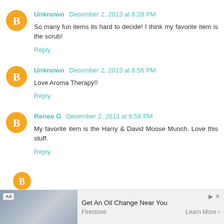Unknown December 2, 2013 at 6:28 PM
So many fun items its hard to decide! I think my favorite item is the scrub!
Reply
Unknown December 2, 2013 at 6:56 PM
Love Aroma Therapy!!
Reply
Renee G December 2, 2013 at 6:58 PM
My favorite item is the Harry & David Moose Munch. Love this stuff.
Reply
[Figure (screenshot): Ad banner: Get An Oil Change Near You - Firestone - Learn More]